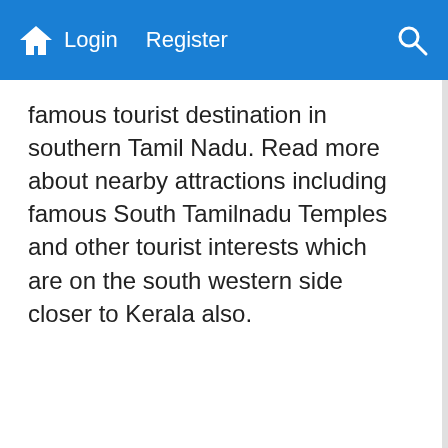Home  Login  Register  Search
famous tourist destination in southern Tamil Nadu. Read more about nearby attractions including famous South Tamilnadu Temples and other tourist interests which are on the south western side closer to Kerala also.